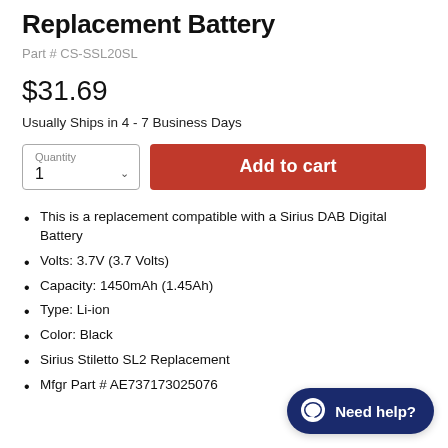Replacement Battery
Part # CS-SSL20SL
$31.69
Usually Ships in 4 - 7 Business Days
[Figure (other): Quantity selector box showing '1' with dropdown chevron, and a red 'Add to cart' button]
This is a replacement compatible with a Sirius DAB Digital Battery
Volts: 3.7V (3.7 Volts)
Capacity: 1450mAh (1.45Ah)
Type: Li-ion
Color: Black
Sirius Stiletto SL2 Replacement
Mfgr Part # AE737173025076
[Figure (other): Need help? chat button with speech bubble icon, dark blue rounded pill shape]